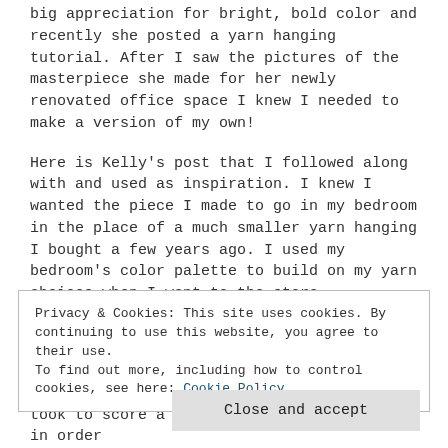big appreciation for bright, bold color and recently she posted a yarn hanging tutorial. After I saw the pictures of the masterpiece she made for her newly renovated office space I knew I needed to make a version of my own!
Here is Kelly's post that I followed along with and used as inspiration. I knew I wanted the piece I made to go in my bedroom in the place of a much smaller yarn hanging I bought a few years ago. I used my bedroom's color palette to build on my yarn choices when I went to the store.
Privacy & Cookies: This site uses cookies. By continuing to use this website, you agree to their use.
To find out more, including how to control cookies, see here: Cookie Policy
Close and accept
took to score a deal when you buy the yarn in order